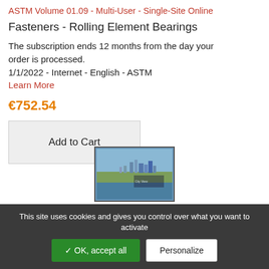ASTM Volume 01.09 - Multi-User - Single-Site Online
Fasteners - Rolling Element Bearings
The subscription ends 12 months from the day your order is processed.
1/1/2022 - Internet - English - ASTM
Learn More
€752.54
Add to Cart
[Figure (photo): Thumbnail image showing an aerial/coastal city view]
This site uses cookies and gives you control over what you want to activate
✓ OK, accept all
Personalize